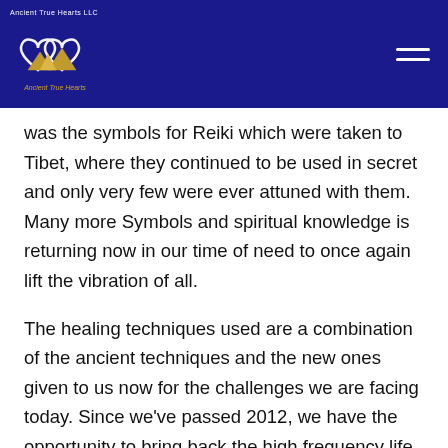[Figure (logo): Ancient True Hearts LLC logo: two interlocking hearts with mountain/pyramid shapes in gold, on dark blue background, with small text 'Ancient True Hearts LLC' above]
was the symbols for Reiki which were taken to Tibet, where they continued to be used in secret and only very few were ever attuned with them.  Many more Symbols and spiritual knowledge is returning now in our time of need to once again lift the vibration of all.
The healing techniques used are a combination of the ancient techniques and the new ones given to us now for the challenges we are facing today. Since we've passed 2012, we have the opportunity to bring back the high frequency life style of Atlantis and take it even further. Birkan Tore is the originator of Atlantean Healing™ modality. The Atlantean Healing attunements for practitioners and the